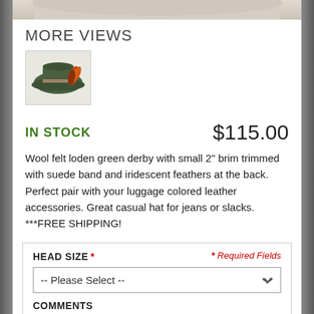[Figure (photo): Top edge of a hat product photo, cropped]
MORE VIEWS
[Figure (photo): Small thumbnail of a green felt derby hat with feather decoration]
IN STOCK
$115.00
Wool felt loden green derby with small 2" brim trimmed with suede band and iridescent feathers at the back. Perfect pair with your luggage colored leather accessories. Great casual hat for jeans or slacks. ***FREE SHIPPING!
HEAD SIZE * * Required Fields
-- Please Select --
COMMENTS